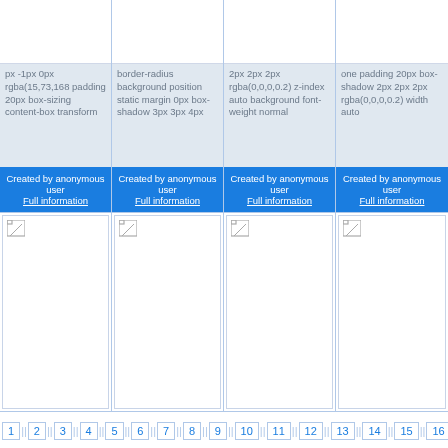[Figure (screenshot): Grid of 4 CSS snippet cards (top row). Each card has an image area, a text block with CSS property values, and a blue 'Created by anonymous user / Full information' button.]
px -1px 0px rgba(15,73,168 padding 20px box-sizing content-box transform
border-radius background position static margin 0px box-shadow 3px 3px 4px
2px 2px 2px rgba(0,0,0,0.2) z-index auto background font-weight normal
one padding 20px box-shadow 2px 2px 2px rgba(0,0,0,0.2) width auto
Created by anonymous user Full information
Created by anonymous user Full information
Created by anonymous user Full information
Created by anonymous user Full information
[Figure (screenshot): Grid of 4 image cards (bottom row), each with a broken image icon placeholder.]
1 2 3 4 5 6 7 8 9 10 11 12 13 14 15 16